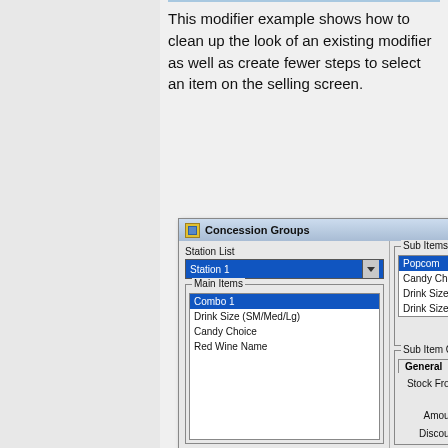This modifier example shows how to clean up the look of an existing modifier as well as create fewer steps to select an item on the selling screen.
[Figure (screenshot): Concession Groups dialog window showing Station List dropdown with 'Station 1' selected, Main Items listbox with 'Combo 1' highlighted (also showing Drink Size (SM/Med/Lg), Candy Choice, Red Wine Name), Sub Items listbox with 'Popcom' highlighted (also showing Candy Choice, Drink Size (SM/Med/L...) twice), Sub Item Options panel with General and Description tabs, Stock From field, checkbox row, Amount field showing '1', Discount field showing '4.00', and Display Text label at bottom.]